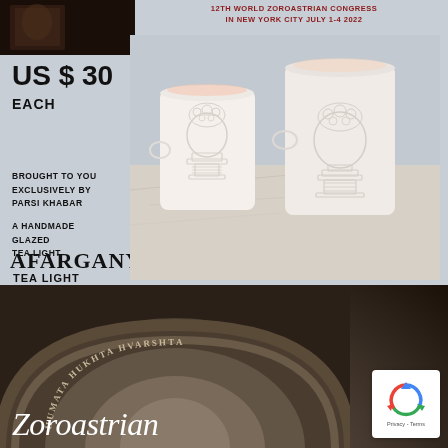[Figure (photo): Product advertisement for Afarganyu Tea Light - two white handmade glazed ceramic cups/votives with embossed urn/chalice design on a marble surface, gray-blue background. Includes price US $30 EACH, congress text, and product details.]
12TH WORLD ZOROASTRIAN CONGRESS IN NEW YORK CITY JULY 1-4 2022
US $ 30
EACH
BROUGHT TO YOU EXCLUSIVELY BY PARSI KHABAR
A HANDMADE GLAZED TEA LIGHT
AFARGANYU
TEA LIGHT
[Figure (photo): Zoroastrian fire temple or building arch/tunnel with inscription HUMATA HUKHTA HVARSHTA in a curved banner, dark warm tones, archway perspective view.]
Zoroastrian